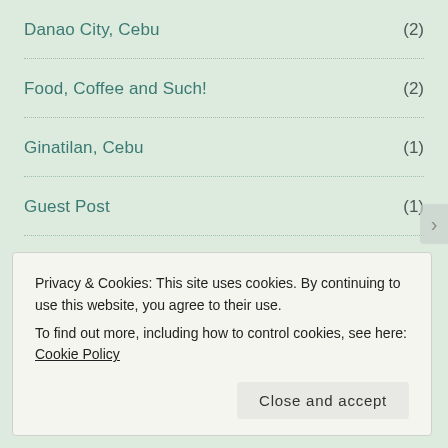Danao City, Cebu (2)
Food, Coffee and Such! (2)
Ginatilan, Cebu (1)
Guest Post (1)
Islands and Such (15)
Liloan, Cebu (1)
Mandaue City (1)
Privacy & Cookies: This site uses cookies. By continuing to use this website, you agree to their use.
To find out more, including how to control cookies, see here: Cookie Policy
Close and accept